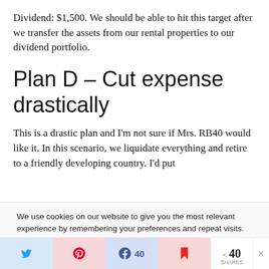Dividend: $1,500. We should be able to hit this target after we transfer the assets from our rental properties to our dividend portfolio.
Plan D – Cut expense drastically
This is a drastic plan and I'm not sure if Mrs. RB40 would like it. In this scenario, we liquidate everything and retire to a friendly developing country. I'd put
We use cookies on our website to give you the most relevant experience by remembering your preferences and repeat visits. By clicking "Accept All", you consent to the use of ALL the cookies. However, you may visit "Cookie Settings" to provide a controlled consent.
< 40 SHARES